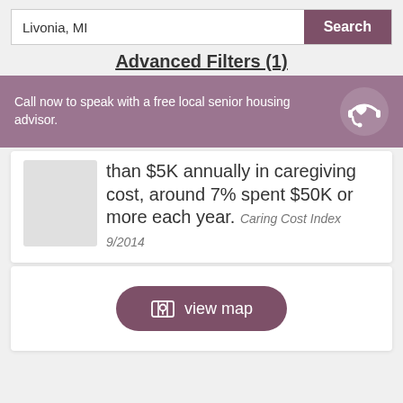Livonia, MI
Search
Advanced Filters (1)
Call now to speak with a free local senior housing advisor.
than $5K annually in caregiving cost, around 7% spent $50K or more each year. Caring Cost Index 9/2014
[Figure (other): View map button with map/pin icon]
view map